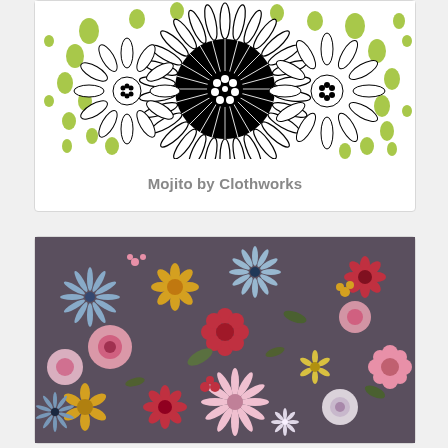[Figure (illustration): Black and white floral pattern with large stylized flower center with dots, radiating petals, and green oval dots scattered around on white background — Mojito by Clothworks fabric]
Mojito by Clothworks
[Figure (photo): Dense floral fabric pattern on dark purple/brown background with colorful scattered flowers in pink, red, yellow, light blue, and white tones — various sizes of daisy-like and pompom flowers]